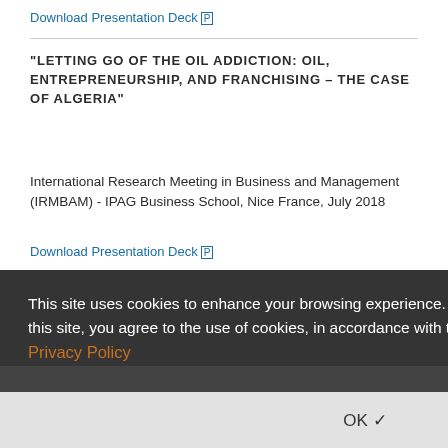Download Presentation Deck [P]
"LETTING GO OF THE OIL ADDICTION: OIL, ENTREPRENEURSHIP, AND FRANCHISING – THE CASE OF ALGERIA"
International Research Meeting in Business and Management (IRMBAM) - IPAG Business School, Nice France, July 2018
Download Presentation Deck [P]
"THE FRANCHISE MODEL: HOW TO ACCELERATE CHANGE ... THE ROLE OF RESTRUCTURING THE R..."
International Symposium on Franchising Conference (ISoF) - Quito, Ecuador, June 2018
Download Presentation Deck [P]
"SELECTING OPTIMAL EXPANSION MARKETS IN INTERNATIONAL FRANCHISING"
This site uses cookies to enhance your browsing experience. By continuing to use this site, you agree to the use of cookies, in accordance with the USNH website Privacy Policy
OK ✓